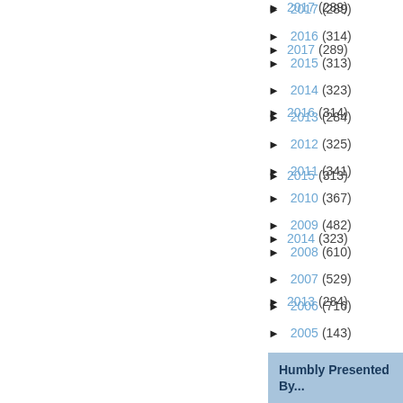► 2017 (289)
► 2016 (314)
► 2015 (313)
► 2014 (323)
► 2013 (284)
► 2012 (325)
► 2011 (341)
► 2010 (367)
► 2009 (482)
► 2008 (610)
► 2007 (529)
► 2006 (716)
► 2005 (143)
Humbly Presented By...